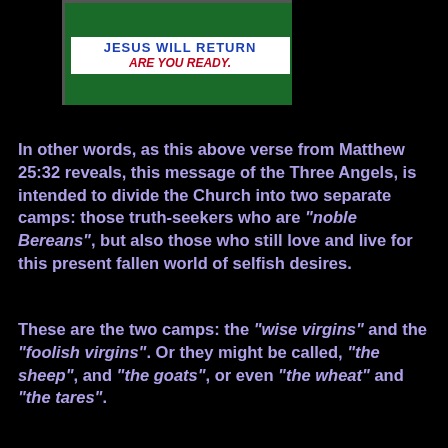[Figure (photo): Church sign reading JESUS WILL RETURN / ARE YOU READY. in blue and red text on a white board with a green background.]
In other words, as this above verse from Matthew 25:32 reveals, this message of the Three Angels, is intended to divide the Church into two separate camps: those truth-seekers who are "noble Bereans", but also those who still love and live for this present fallen world of selfish desires.
These are the two camps: the "wise virgins" and the "foolish virgins". Or they might be called, "the sheep", and "the goats", or even "the wheat" and "the tares".